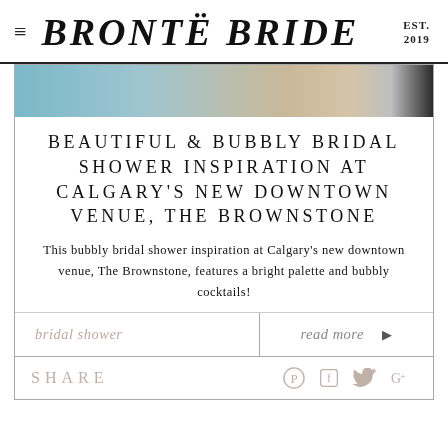≡ BRONTË BRIDE EST. 2019
[Figure (photo): Cropped photo of a bridal shower scene with blue and neutral tones]
BEAUTIFUL & BUBBLY BRIDAL SHOWER INSPIRATION AT CALGARY'S NEW DOWNTOWN VENUE, THE BROWNSTONE
This bubbly bridal shower inspiration at Calgary's new downtown venue, The Brownstone, features a bright palette and bubbly cocktails!
bridal shower
read more ▶
SHARE